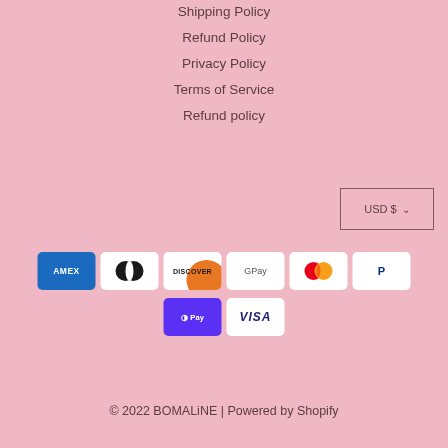Shipping Policy
Refund Policy
Privacy Policy
Terms of Service
Refund policy
[Figure (other): USD $ currency selector dropdown button]
[Figure (other): Payment method icons: Amex, Diners Club, Discover, Google Pay, Mastercard, PayPal, Shop Pay, Visa]
© 2022 BOMALiNE | Powered by Shopify